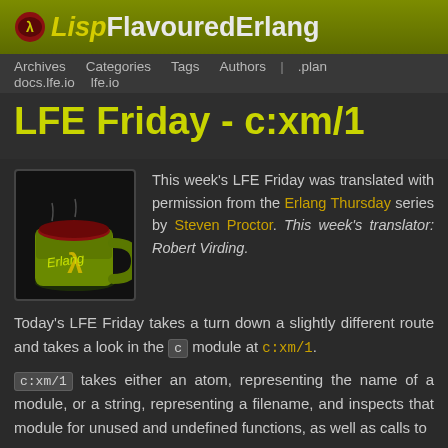LispFlavouredErlang
Archives   Categories   Tags   Authors  |  .plan   docs.lfe.io   lfe.io
LFE Friday - c:xm/1
This week's LFE Friday was translated with permission from the Erlang Thursday series by Steven Proctor. This week's translator: Robert Virding.
Today's LFE Friday takes a turn down a slightly different route and takes a look in the c module at c:xm/1.
c:xm/1 takes either an atom, representing the name of a module, or a string, representing a filename, and inspects that module for unused and undefined functions, as well as calls to